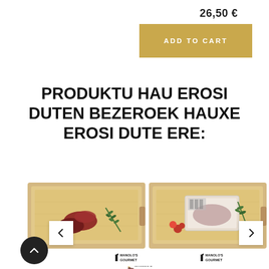26,50 €
ADD TO CART
PRODUKTU HAU EROSI DUTEN BEZEROEK HAUXE EROSI DUTE ERE:
[Figure (photo): Product photo of raw meat cuts on a wooden cutting board with rosemary sprig]
[Figure (logo): MANOLO'S GOURMET brand logo left product]
[Figure (photo): Product photo of packaged meat in a tray on a wooden cutting board with cherry tomatoes and herbs]
[Figure (logo): MANOLO'S GOURMET brand logo right product]